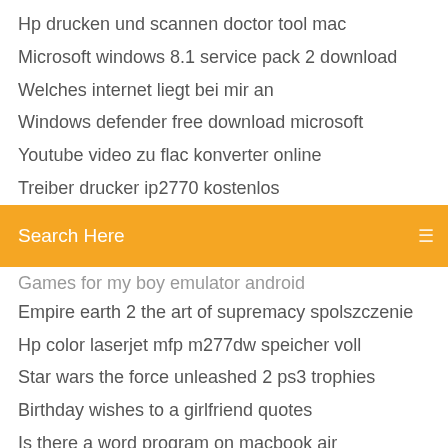Hp drucken und scannen doctor tool mac
Microsoft windows 8.1 service pack 2 download
Welches internet liegt bei mir an
Windows defender free download microsoft
Youtube video zu flac konverter online
Treiber drucker ip2770 kostenlos
[Figure (screenshot): Orange search bar with text 'Search Here' and a menu icon on the right]
Games for my boy emulator android
Empire earth 2 the art of supremacy spolszczenie
Hp color laserjet mfp m277dw speicher voll
Star wars the force unleashed 2 ps3 trophies
Birthday wishes to a girlfriend quotes
Is there a word program on macbook air
Watch free streaming movies online 2019
Microsoft office for mac home and student 2019 update
How to make a youtube profile picture with paint.net
High resolution pdf to jpg converter free
Descargar driver epson stylus cx3500 para windows 10